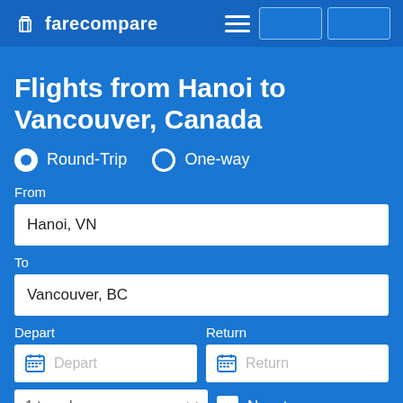farecompare
Flights from Hanoi to Vancouver, Canada
Round-Trip   One-way
From
Hanoi, VN
To
Vancouver, BC
Depart
Return
Depart
Return
1 traveler
Nonstop